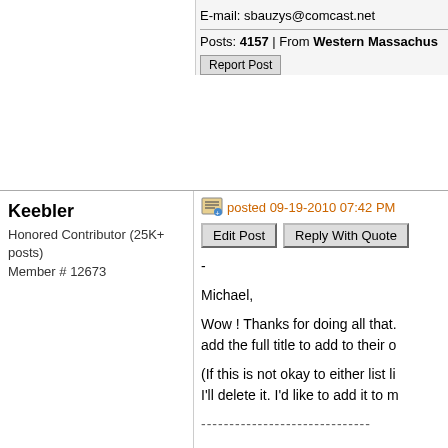E-mail: sbauzys@comcast.net
Posts: 4157 | From Western Massachus...
Report Post
Keebler
Honored Contributor (25K+ posts)
Member # 12673
posted 09-19-2010 07:42 PM
Edit Post
Reply With Quote
-
Michael,

Wow ! Thanks for doing all that. add the full title to add to their o

(If this is not okay to either list li I'll delete it. I'd like to add it to m
------------------------------
https://acrobat.com/#d=sbb-Emp
The Case For Chronic Infection: species post antibiotic exposure
- by Michael D. Parent (2010)
- 82 pages
* This article documents the ava existence of Chronic Lyme Di...